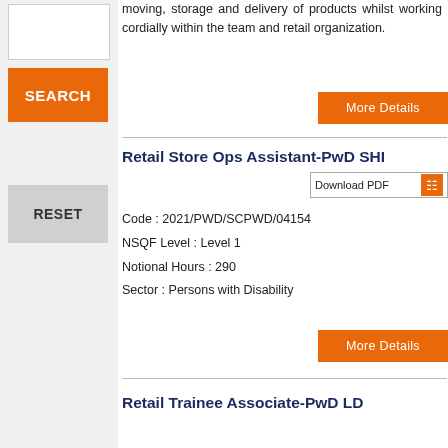moving, storage and delivery of products whilst working cordially within the team and retail organization.
More Details
Retail Store Ops Assistant-PwD SHI
Download PDF
Code : 2021/PWD/SCPWD/04154
NSQF Level : Level 1
Notional Hours : 290
Sector : Persons with Disability
More Details
Retail Trainee Associate-PwD LD